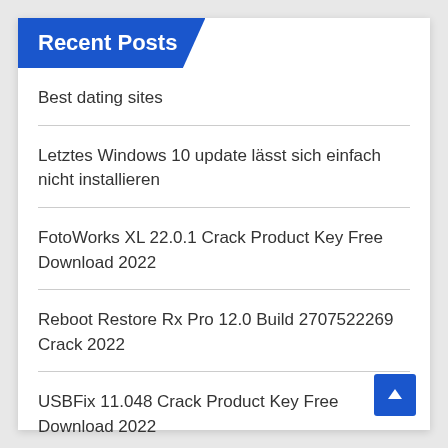Recent Posts
Best dating sites
Letztes Windows 10 update lässt sich einfach nicht installieren
FotoWorks XL 22.0.1 Crack Product Key Free Download 2022
Reboot Restore Rx Pro 12.0 Build 2707522269 Crack 2022
USBFix 11.048 Crack Product Key Free Download 2022